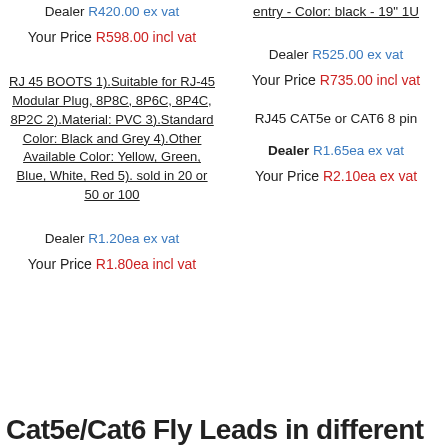Dealer R420.00 ex vat
Your Price R598.00 incl vat
RJ 45 BOOTS 1).Suitable for RJ-45 Modular Plug, 8P8C, 8P6C, 8P4C, 8P2C 2).Material: PVC 3).Standard Color: Black and Grey 4).Other Available Color: Yellow, Green, Blue, White, Red 5). sold in 20 or 50 or 100
Dealer R1.20ea ex vat
Your Price R1.80ea incl vat
entry - Color: black - 19" 1U
Dealer R525.00 ex vat
Your Price R735.00 incl vat
RJ45 CAT5e or CAT6 8 pin
Dealer R1.65ea ex vat
Your Price R2.10ea ex vat
Cat5e/Cat6 Fly Leads in different